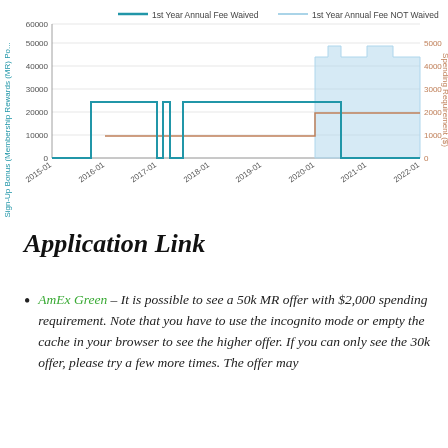[Figure (line-chart): Sign-Up Bonus History]
Application Link
AmEx Green – It is possible to see a 50k MR offer with $2,000 spending requirement. Note that you have to use the incognito mode or empty the cache in your browser to see the higher offer. If you can only see the 30k offer, please try a few more times. The offer may